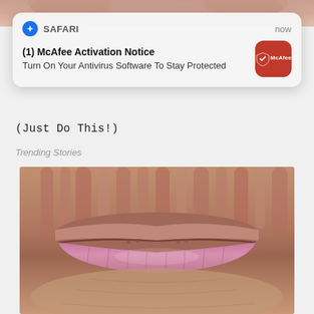[Figure (photo): Top portion of a person's face, cropped — skin tones, close-up]
[Figure (screenshot): Safari browser push notification card: '(1) McAfee Activation Notice — Turn On Your Antivirus Software To Stay Protected' with McAfee red icon, labeled 'now']
(Just Do This!)
Trending Stories
[Figure (photo): Extreme close-up photograph of elderly human lips/mouth area showing wrinkled skin and lips]